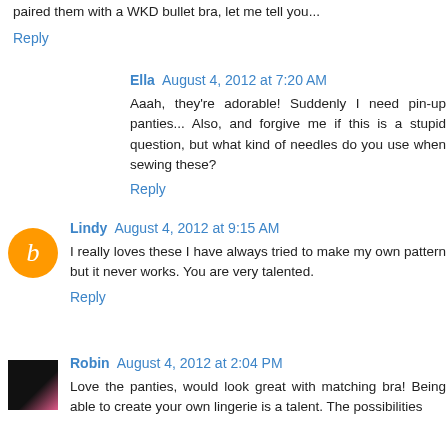paired them with a WKD bullet bra, let me tell you...
Reply
Ella  August 4, 2012 at 7:20 AM
Aaah, they're adorable! Suddenly I need pin-up panties... Also, and forgive me if this is a stupid question, but what kind of needles do you use when sewing these?
Reply
Lindy  August 4, 2012 at 9:15 AM
I really loves these I have always tried to make my own pattern but it never works. You are very talented.
Reply
Robin  August 4, 2012 at 2:04 PM
Love the panties, would look great with matching bra! Being able to create your own lingerie is a talent. The possibilities